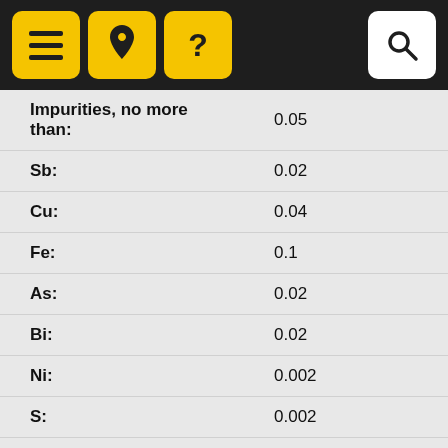Navigation bar with menu, location, help, and search icons
| Property | Value |
| --- | --- |
| Impurities, no more than: | 0.05 |
| Sb: | 0.02 |
| Cu: | 0.04 |
| Fe: | 0.1 |
| As: | 0.02 |
| Bi: | 0.02 |
| Ni: | 0.002 |
| S: | 0.002 |
| Al: | 0.07 |
| Property | Value |
| --- | --- |
| Mass fraction,%: | POSS 40-2 |
| Brand of solder: | - |
| Impurities, no more than: | 0.08 |